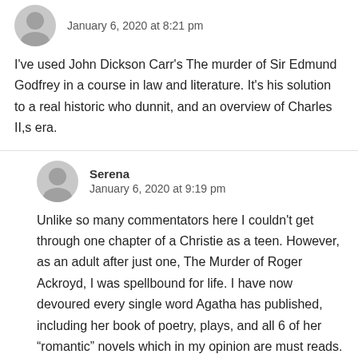January 6, 2020 at 8:21 pm
I've used John Dickson Carr's The murder of Sir Edmund Godfrey in a course in law and literature. It's his solution to a real historic who dunnit, and an overview of Charles II,s era.
Serena
January 6, 2020 at 9:19 pm
Unlike so many commentators here I couldn't get through one chapter of a Christie as a teen. However, as an adult after just one, The Murder of Roger Ackroyd, I was spellbound for life. I have now devoured every single word Agatha has published, including her book of poetry, plays, and all 6 of her “romantic” novels which in my opinion are must reads. She has given me untold hours of pure cozy entertainment… However, people should check out a book/movie from the very early 30’s called The Ninth Guest. I remember hiding those books from Christie’s And The